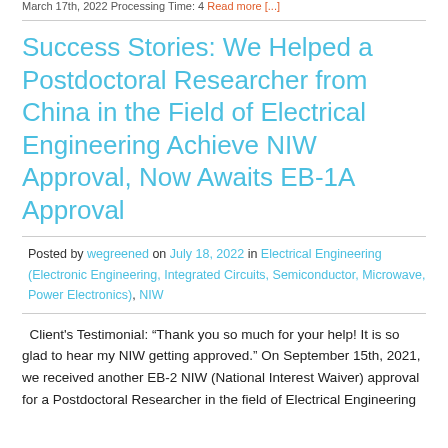March 17th, 2022 Processing Time: 4 Read more [...]
Success Stories: We Helped a Postdoctoral Researcher from China in the Field of Electrical Engineering Achieve NIW Approval, Now Awaits EB-1A Approval
Posted by wegreened on July 18, 2022 in Electrical Engineering (Electronic Engineering, Integrated Circuits, Semiconductor, Microwave, Power Electronics), NIW
Client's Testimonial: “Thank you so much for your help! It is so glad to hear my NIW getting approved.” On September 15th, 2021, we received another EB-2 NIW (National Interest Waiver) approval for a Postdoctoral Researcher in the field of Electrical Engineering (more on Electrical Engineering, Power Electronics, Broadband Technology)